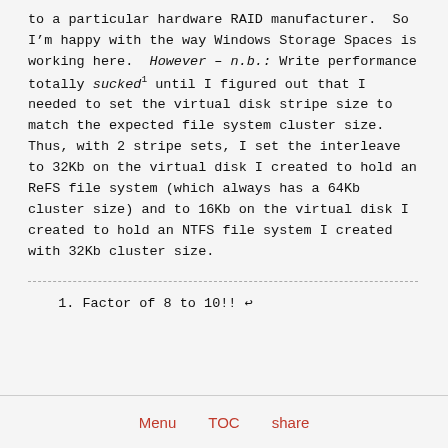to a particular hardware RAID manufacturer.  So I'm happy with the way Windows Storage Spaces is working here.  However – n.b.: Write performance totally sucked[1] until I figured out that I needed to set the virtual disk stripe size to match the expected file system cluster size.  Thus, with 2 stripe sets, I set the interleave to 32Kb on the virtual disk I created to hold an ReFS file system (which always has a 64Kb cluster size) and to 16Kb on the virtual disk I created to hold an NTFS file system I created with 32Kb cluster size.
1. Factor of 8 to 10!! ↩
Menu   TOC   share